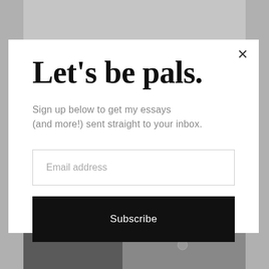[Figure (screenshot): Background page with gray background and partial images visible behind the modal popup]
Let's be pals.
Sign up below to get my essays (and more!) sent straight to your inbox.
Email address
Subscribe